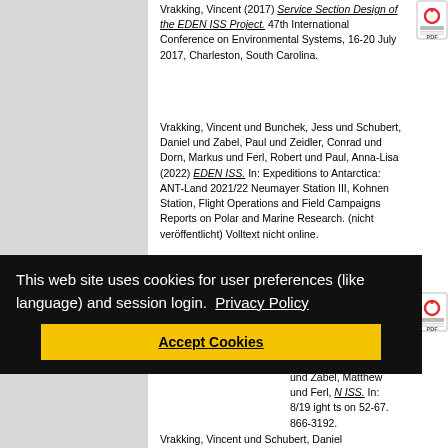Vrakking, Vincent (2017) Service Section Design of the EDEN ISS Project. 47th International Conference on Environmental Systems, 16-20 July 2017, Charleston, South Carolina.
Vrakking, Vincent und Bunchek, Jess und Schubert, Daniel und Zabel, Paul und Zeidler, Conrad und Dorn, Markus und Ferl, Robert und Paul, Anna-Lisa (2022) EDEN ISS. In: Expeditions to Antarctica: ANT-Land 2021/22 Neumayer Station III, Kohnen Station, Flight Operations and Field Campaigns Reports on Polar and Marine Research. (nicht veröffentlicht) Volltext nicht online.
Vrakking, Vincent und Quantius, Dominik und Zeidler, Conrad und Philpot, Claudia und Romberg, Oliver...
...und Zabel, Matthew und Ferl, N ISS. In: 8/19 ight ts on 52-67. 866-3192.
[Figure (other): PDF icon]
[Figure (other): PDF icon]
This web site uses cookies for user preferences (like language) and session login.  Privacy Policy
Accept Cookies
Vrakking, Vincent und Schubert, Daniel...